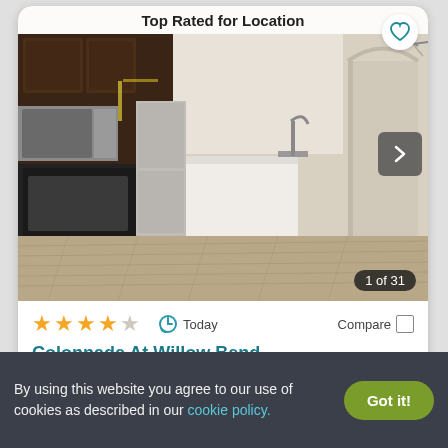Top Rated for Location
[Figure (photo): Interior photo of a modern apartment kitchen/living area with dark wood cabinets, stainless steel appliances, white kitchen island, hardwood-style floors, and open hallway. Photo navigation arrow visible on right. Counter shows 1 of 31.]
★★★★☆   Today   Compare
Colonnade At Willow Bend
1100 Meredith Ln., Plano, TX 75093
✓ 25 Units available   ✓ Verified
By using this website you agree to our use of cookies as described in our cookie policy.